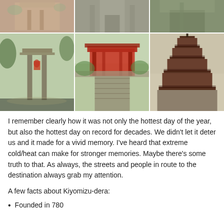[Figure (photo): Grid of 6 photos showing Japanese streets, temples, torii gate, shrine entrance, and pagoda]
I remember clearly how it was not only the hottest day of the year, but also the hottest day on record for decades. We didn't let it deter us and it made for a vivid memory. I've heard that extreme cold/heat can make for stronger memories. Maybe there's some truth to that. As always, the streets and people in route to the destination always grab my attention.
A few facts about Kiyomizu-dera:
Founded in 780